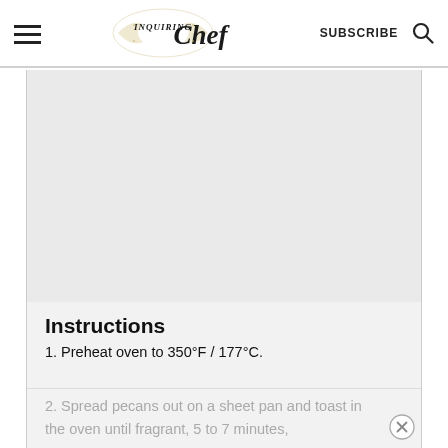Inquiring Chef — SUBSCRIBE (search icon)
[Figure (photo): Large image placeholder area (recipe photo, mostly gray/blank)]
Instructions
1. Preheat oven to 350°F / 177°C.
2. Spread pecans out on a sheet pan and toast in the oven until fragrant, 5 to 7 minutes,